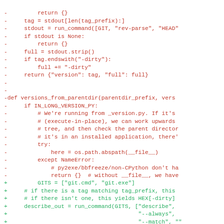[Figure (other): A code diff showing Python code changes. Removed lines (red, prefixed with '-') and added lines (green, prefixed with '+') showing version control utility functions.]